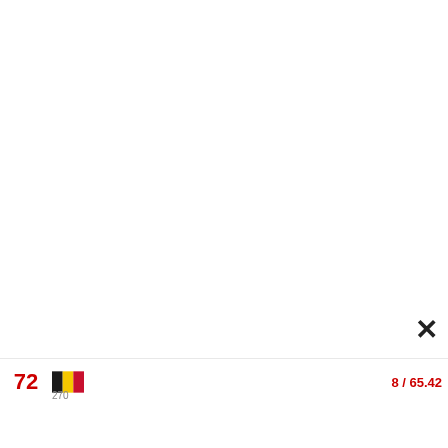[Figure (screenshot): White blank area at top of a map/list application screenshot]
×
72  [Belgium flag]  270  8 / 65.42
[Figure (other): Popup card showing Horse Veterinarians & Dentists with link to Total Equine Veterinary Associ... and navigation arrow icon]
Horse Veterinarians & Dentists
Total Equine Veterinary Associ...
73  [Belgium flag]  ×  8 / 66.68